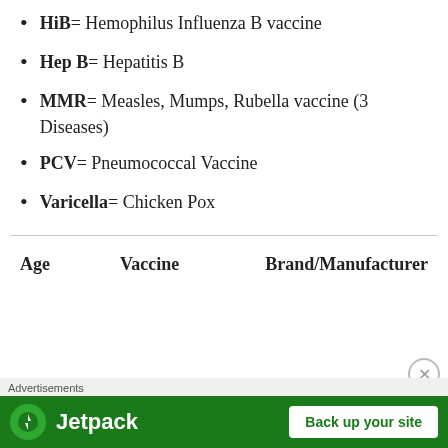HiB= Hemophilus Influenza B vaccine
Hep B= Hepatitis B
MMR= Measles, Mumps, Rubella vaccine (3 Diseases)
PCV= Pneumococcal Vaccine
Varicella= Chicken Pox
| Age | Vaccine | Brand/Manufacturer |
| --- | --- | --- |